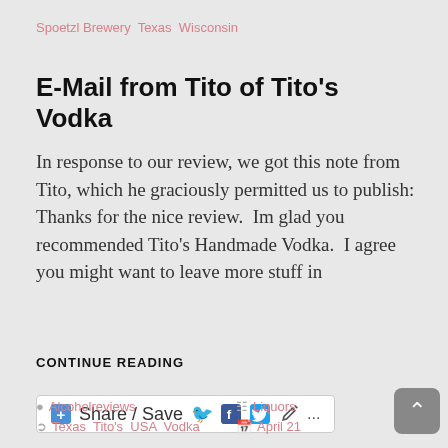Spoetzl Brewery  Texas  Wisconsin
E-Mail from Tito of Tito's Vodka
In response to our review, we got this note from Tito, which he graciously permitted us to publish: Thanks for the nice review.  Im glad you recommended Tito's Handmade Vodka.  I agree you might want to leave more stuff in
CONTINUE READING
[Figure (other): Share / Save social sharing bar with icons for Facebook, Twitter, and more options]
Alcoholreviews  Texas  Tito's  USA  Vodka  Liquors  April 21